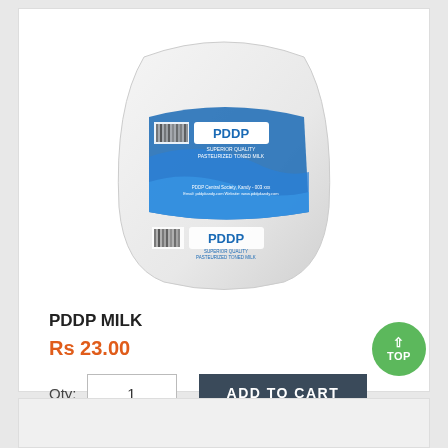[Figure (photo): A white plastic bag of PDDP milk with blue branding and barcodes on front and back panels]
PDDP MILK
Rs 23.00
Qty: 1   ADD TO CART